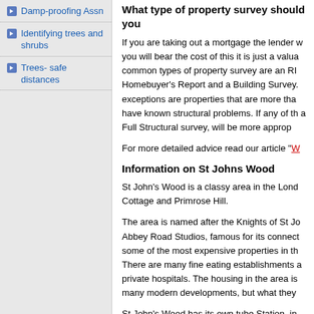Damp-proofing Assn
Identifying trees and shrubs
Trees- safe distances
What type of property survey should you
If you are taking out a mortgage the lender w you will bear the cost of this it is just a valua common types of property survey are an RI Homebuyer's Report and a Building Survey. exceptions are properties that are more tha have known structural problems. If any of th a Full Structural survey, will be more approp
For more detailed advice read our article "W
Information on St Johns Wood
St John's Wood is a classy area in the Lond Cottage and Primrose Hill.
The area is named after the Knights of St Jo Abbey Road Studios, famous for its connect some of the most expensive properties in th There are many fine eating establishments a private hospitals. The housing in the area is many modern developments, but what they
St John's Wood has its own tube Station, in